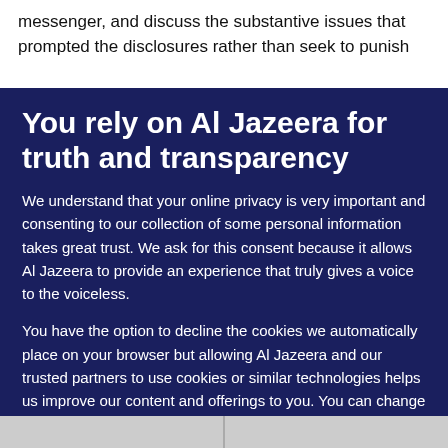messenger, and discuss the substantive issues that prompted the disclosures rather than seek to punish
You rely on Al Jazeera for truth and transparency
We understand that your online privacy is very important and consenting to our collection of some personal information takes great trust. We ask for this consent because it allows Al Jazeera to provide an experience that truly gives a voice to the voiceless.
You have the option to decline the cookies we automatically place on your browser but allowing Al Jazeera and our trusted partners to use cookies or similar technologies helps us improve our content and offerings to you. You can change your privacy preferences at any time by selecting 'Cookie preferences' at the bottom of your screen. To learn more, please view our Cookie Policy.